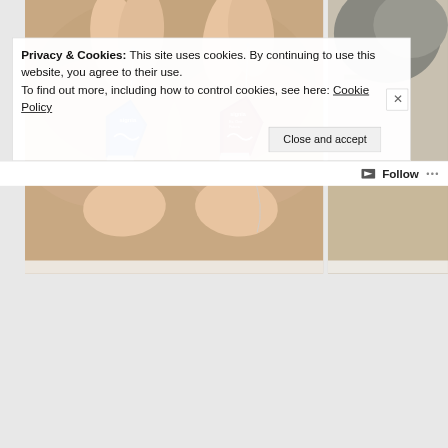[Figure (photo): Two small hearing aids held between fingers and thumbs — one blue (left) and one red/maroon (right), both branded 'Signia', with thin wire antennas sticking up. Background is blurred beige/skin tones.]
[Figure (photo): Partial view of a person's head/hair (grey) and a room interior with shelving, visible on the right side of the page.]
Privacy & Cookies: This site uses cookies. By continuing to use this website, you agree to their use.
To find out more, including how to control cookies, see here: Cookie Policy
Close and accept
Follow